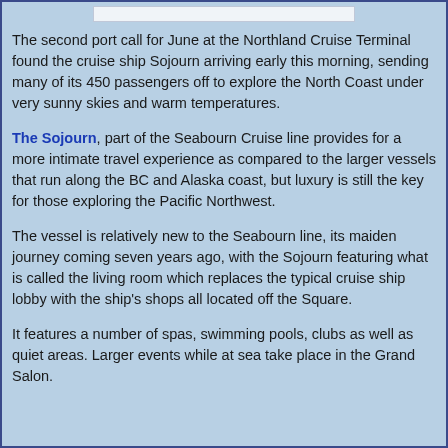The second port call for June at the Northland Cruise Terminal found the cruise ship Sojourn arriving early this morning, sending many of its 450 passengers off to explore the North Coast under very sunny skies and warm temperatures.
The Sojourn, part of the Seabourn Cruise line provides for a more intimate travel experience as compared to the larger vessels that run along the BC and Alaska coast, but luxury is still the key for those exploring the Pacific Northwest.
The vessel is relatively new to the Seabourn line, its maiden journey coming seven years ago, with the Sojourn featuring what is called the living room which replaces the typical cruise ship lobby with the ship's shops all located off the Square.
It features a number of spas, swimming pools, clubs as well as quiet areas. Larger events while at sea take place in the Grand Salon.